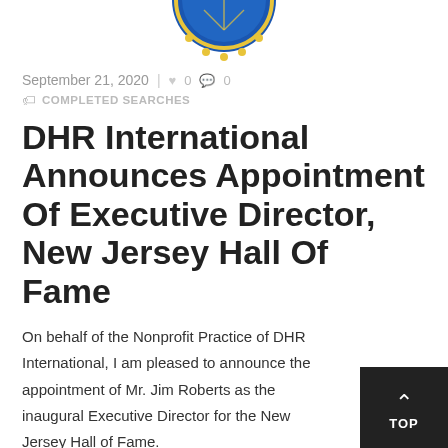[Figure (logo): Partial circular seal/logo with blue and yellow colors, cropped at top of page]
September 21, 2020  |  ♥ 0  💬 0
🏷 COMPLETED SEARCHES
DHR International Announces Appointment Of Executive Director, New Jersey Hall Of Fame
On behalf of the Nonprofit Practice of DHR International, I am pleased to announce the appointment of Mr. Jim Roberts as the inaugural Executive Director for the New Jersey Hall of Fame.